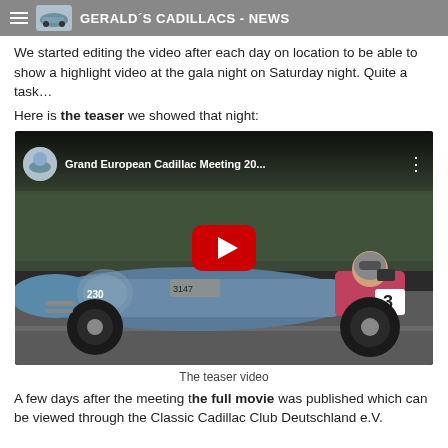GERALD´S CADILLACS - NEWS
We started editing the video after each day on location to be able to show a highlight video at the gala night on Saturday night. Quite a task…
Here is the teaser we showed that night:
[Figure (screenshot): YouTube video thumbnail showing a vintage blue racing car (number 230/3147) on a road with a person in a pink jacket. Red YouTube play button overlay. Title reads 'Grand European Cadillac Meeting 20...']
The teaser video
A few days after the meeting the full movie was published which can be viewed through the Classic Cadillac Club Deutschland e.V.